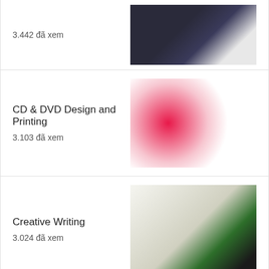3.442 đã xem
CD & DVD Design and Printing
3.103 đã xem
Creative Writing
3.024 đã xem
Calendars
2.987 đã xem
TIN NỔI BẬT BUSINESS DOCUMENT PRINTING